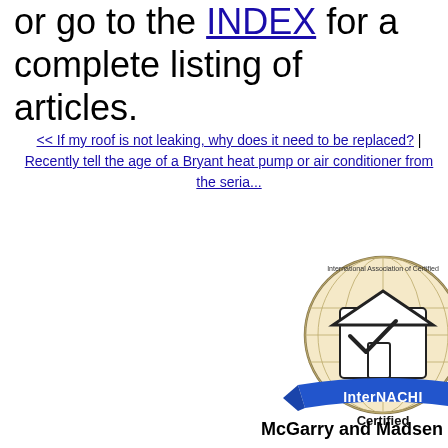or go to the INDEX for a complete listing of articles.
<< If my roof is not leaking, why does it need to be replaced?  |  Recently tell the age of a Bryant heat pump or air conditioner from the seria...
[Figure (logo): InterNACHI International Association of Certified Home Inspectors certified badge/seal with globe and house icon]
McGarry and Madsen